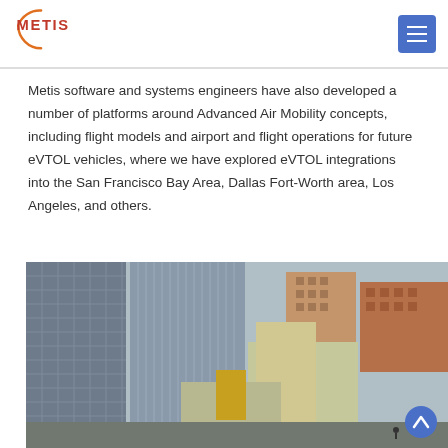METIS
Metis software and systems engineers have also developed a number of platforms around Advanced Air Mobility concepts, including flight models and airport and flight operations for future eVTOL vehicles, where we have explored eVTOL integrations into the San Francisco Bay Area, Dallas Fort-Worth area, Los Angeles, and others.
[Figure (photo): Aerial view of urban city buildings, showing skyscrapers and lower-rise structures from above, city downtown area]